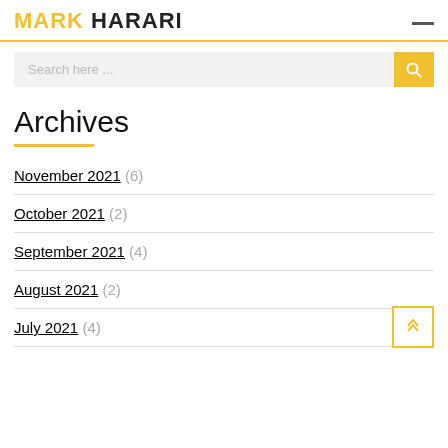MARK HARARI
Search here ...
Archives
November 2021 (6)
October 2021 (2)
September 2021 (4)
August 2021 (2)
July 2021 (4)